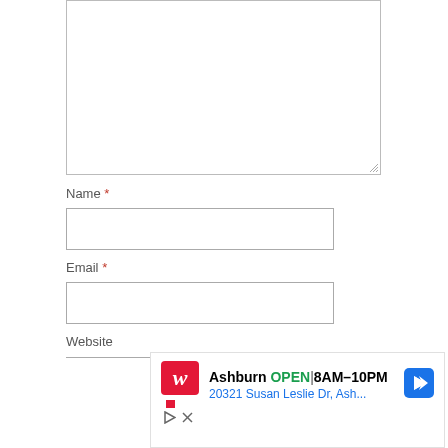[Figure (screenshot): Empty textarea form field with resize handle in bottom-right corner]
Name *
[Figure (screenshot): Empty text input field for Name]
Email *
[Figure (screenshot): Empty text input field for Email]
Website
[Figure (screenshot): Empty text input field for Website (partially visible)]
[Figure (screenshot): Walgreens advertisement showing: Ashburn OPEN 8AM-10PM, 20321 Susan Leslie Dr, Ash..., with Walgreens logo and navigation arrow icon, play and close controls]